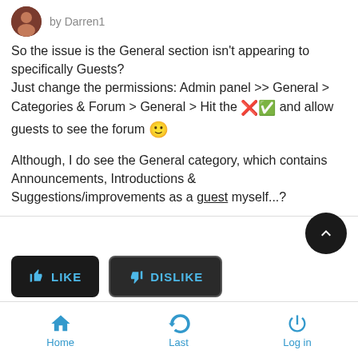by Darren1
So the issue is the General section isn't appearing to specifically Guests?
Just change the permissions: Admin panel >> General > Categories & Forum > General > Hit the [edit icon] and allow guests to see the forum :)

Although, I do see the General category, which contains Announcements, Introductions & Suggestions/improvements as a guest myself...?
July 22nd 2011, 11:51 am by Mystic_gohan2
I get your problem His whole forum from GSM category is clickable and leads to some sorts of 404 link and his categories